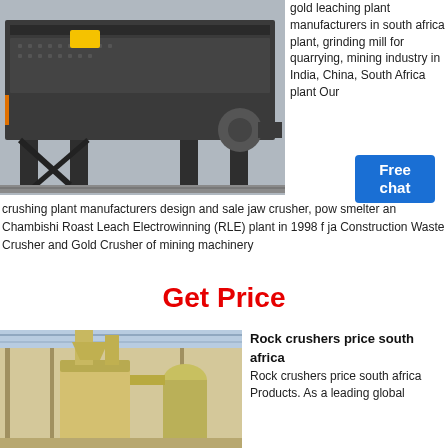[Figure (photo): Industrial vibrating screen / mining equipment, dark grey metal, photographed in a factory setting]
gold leaching plant manufacturers in south africa plant, grinding mill for quarrying, mining industry in India, China, South Africa plant Our crushing plant manufacturers design and sale jaw crusher, pow smelter and Chambishi Roast Leach Electrowinning (RLE) plant in 1998 f ja Construction Waste Crusher and Gold Crusher of mining machinery
Get Price
[Figure (photo): Industrial grinding mill / powder processing equipment inside a large factory building, beige/cream colored machinery with pipes and cyclone separators]
Rock crushers price south africa - Rock crushers price south africa Products. As a leading global